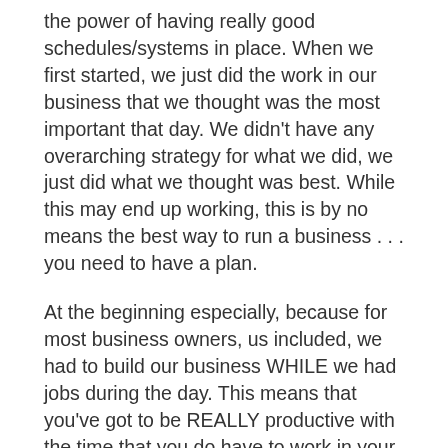the power of having really good schedules/systems in place.  When we first started, we just did the work in our business that we thought was the most important that day.  We didn't have any overarching strategy for what we did, we just did what we thought was best.  While this may end up working, this is by no means the best way to run a business . . . you need to have a plan.
At the beginning especially, because for most business owners, us included, we had to build our business WHILE we had jobs during the day.  This means that you've got to be REALLY productive with the time that you do have to work in your business.  Knowing this, you want to prioritize the things that will help your business move forward as quickly as possible especially in the beginning.  Things like:
increasing sales